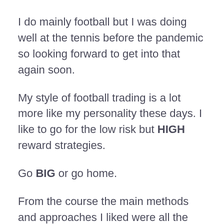I do mainly football but I was doing well at the tennis before the pandemic so looking forward to get into that again soon.
My style of football trading is a lot more like my personality these days. I like to go for the low risk but HIGH reward strategies.
Go BIG or go home.
From the course the main methods and approaches I liked were all the reloaded methods, the System X, and the Jackpot. I started out with these risking around 20-40 quid to potentially lock in £100+ or so. But this has graduated to me risking to be in £1000...